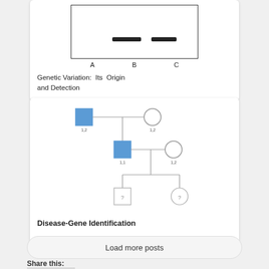[Figure (other): Gel electrophoresis diagram showing three lanes labeled A, B, C with bands in lanes B and C]
Genetic Variation: Its Origin and Detection
[Figure (other): Pedigree diagram showing two generations with affected males (filled blue squares) and unaffected females (open circles), with offspring indicated as unknown (?)]
Disease-Gene Identification
Load more posts
Share this: